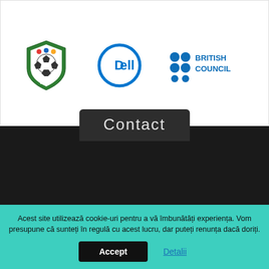[Figure (logo): LPF (Liga Profesionistă de Fotbal) logo - green shield with soccer ball and colored dots]
[Figure (logo): Dell logo - blue circle outline with DELL text inside]
[Figure (logo): British Council logo - blue dots grid with BRITISH COUNCIL text]
Contact
Pentru orice intrebari sau neclaritati, poti lua legatura cu noi folosind formularul nostru de contact:
Nume *
Acest site utilizează cookie-uri pentru a vă îmbunătăți experiența. Vom presupune că sunteți în regulă cu acest lucru, dar puteți renunța dacă doriți.
Accept
Detalii